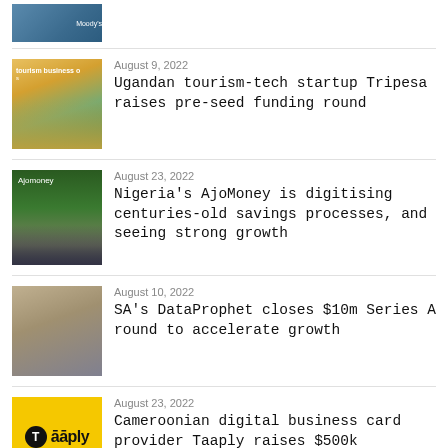[Figure (screenshot): Partial thumbnail of a dark blue slide or screen with Moody's branding visible]
[Figure (photo): Photo of a woman in an orange hijab, text overlay 'tourism business o...']
August 9, 2022
Ugandan tourism-tech startup Tripesa raises pre-seed funding round
[Figure (photo): Group photo of people in purple shirts with Ajomoney branding on dark green background]
August 23, 2022
Nigeria's AjoMoney is digitising centuries-old savings processes, and seeing strong growth
[Figure (photo): Photo of two people at an event with awards or objects]
August 10, 2022
SA's DataProphet closes $10m Series A round to accelerate growth
[Figure (logo): Taaply logo on yellow background — black circle with T, and bold text 'taaply']
August 23, 2022
Cameroonian digital business card provider Taaply raises $500k